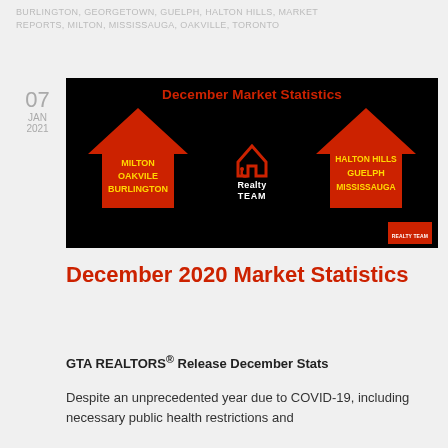BURLINGTON, GEORGETOWN, GUELPH, HALTON HILLS, MARKET REPORTS, MILTON, MISSISSAUGA, OAKVILLE, TORONTO
07 JAN 2021
[Figure (illustration): December Market Statistics banner image with two red house silhouettes on black background. Left house: MILTON, OAKVILE, BURLINGTON in yellow text. Right house: HALTON HILLS, GUELPH, MISSISSAUGA in yellow text. Center: JP Realty Team logo.]
December 2020 Market Statistics
GTA REALTORS® Release December Stats
Despite an unprecedented year due to COVID-19, including necessary public health restrictions and